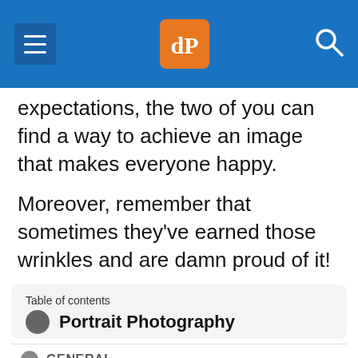dPS (digital Photography School) navigation header
expectations, the two of you can find a way to achieve an image that makes everyone happy.
Moreover, remember that sometimes they've earned those wrinkles and are damn proud of it!
Table of contents: Portrait Photography
GENERAL
15 Common Portrait Mistakes to Avoid
10 Ways to Direct a Portrait Shoot like a Pro
How to Photograph People: 7 Tips for Photographing When New Photographers…